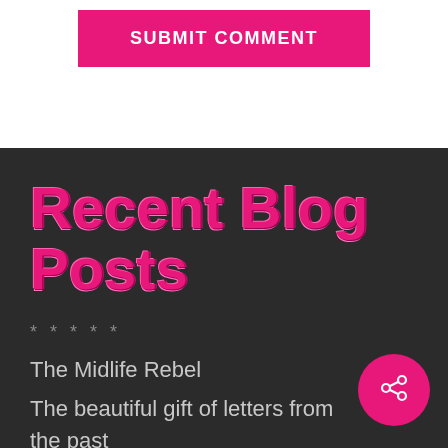[Figure (other): Pink 'SUBMIT COMMENT' button on white background]
Recent Blog Posts
* * * * *
The Midlife Rebel
The beautiful gift of letters from the past